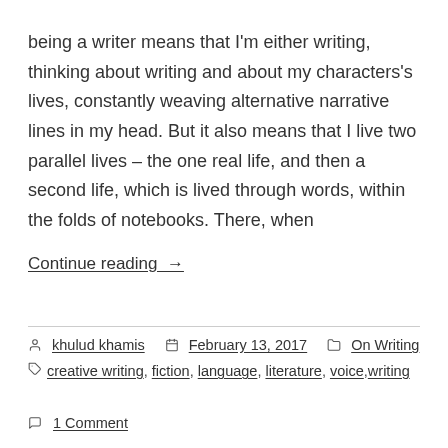being a writer means that I'm either writing, thinking about writing and about my characters's lives, constantly weaving alternative narrative lines in my head. But it also means that I live two parallel lives – the one real life, and then a second life, which is lived through words, within the folds of notebooks. There, when
Continue reading →
khulud khamis   February 13, 2017   On Writing
creative writing, fiction, language, literature, voice, writing
1 Comment